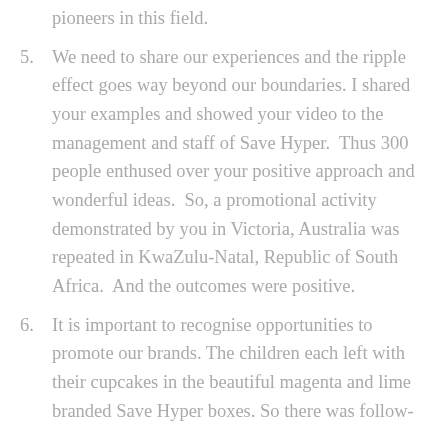pioneers in this field.
5. We need to share our experiences and the ripple effect goes way beyond our boundaries. I shared your examples and showed your video to the management and staff of Save Hyper.  Thus 300 people enthused over your positive approach and wonderful ideas.  So, a promotional activity demonstrated by you in Victoria, Australia was repeated in KwaZulu-Natal, Republic of South Africa.  And the outcomes were positive.
6. It is important to recognise opportunities to promote our brands. The children each left with their cupcakes in the beautiful magenta and lime branded Save Hyper boxes. So there was follow-through from the purchases and this promoted